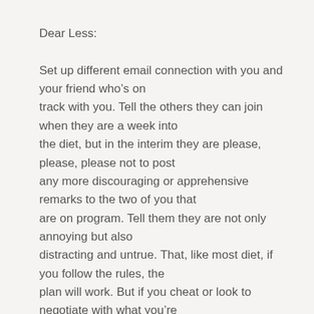Dear Less:
Set up different email connection with you and your friend who's on track with you. Tell the others they can join when they are a week into the diet, but in the interim they are please, please, please not to post any more discouraging or apprehensive remarks to the two of you that are on program. Tell them they are not only annoying but also distracting and untrue. That, like most diet, if you follow the rules, the plan will work. But if you cheat or look to negotiate with what you're clearly not committed to, it's likely to fail and discourage you even